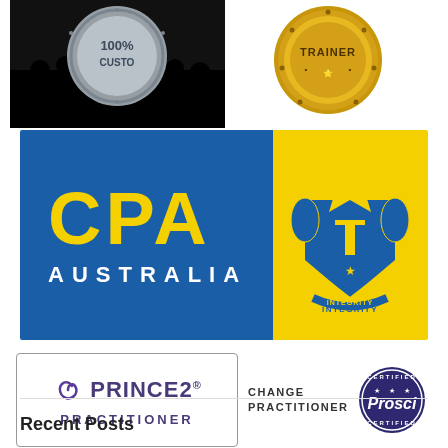[Figure (logo): 100% Custom badge/seal with silhouetted people, silver circular design on black background]
[Figure (logo): Gold circular Trainer badge/medallion]
[Figure (logo): CPA Australia logo - blue and yellow banner with CPA text and coat of arms]
[Figure (logo): PRINCE2 Practitioner certification logo in purple with spiral icon, boxed with border]
[Figure (logo): Prosci Certified Change Practitioner circular badge in dark blue/purple]
Recent Posts